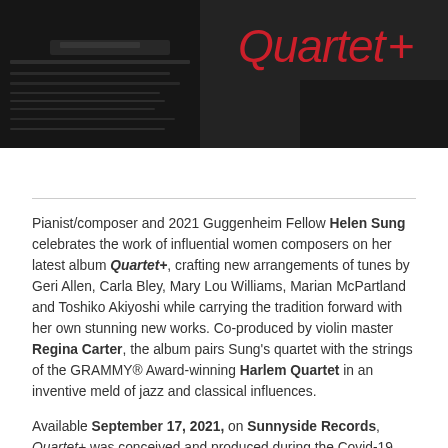[Figure (photo): Dark banner photo showing a close-up of piano keys or similar dark musical instrument, with the text 'Quartet+' displayed in red italic font in the upper right area of the banner.]
Pianist/composer and 2021 Guggenheim Fellow Helen Sung celebrates the work of influential women composers on her latest album Quartet+, crafting new arrangements of tunes by Geri Allen, Carla Bley, Mary Lou Williams, Marian McPartland and Toshiko Akiyoshi while carrying the tradition forward with her own stunning new works. Co-produced by violin master Regina Carter, the album pairs Sung's quartet with the strings of the GRAMMY® Award-winning Harlem Quartet in an inventive meld of jazz and classical influences.
Available September 17, 2021, on Sunnyside Records, Quartet+ was conceived and produced during the Covid-19 pandemic and made possible by a grant from the NYC Women's Fund for Media, Music and Theatre with additional support from the Aaron Copland Fund for Music and the Queens Arts Council. It allows Sung, who also studied